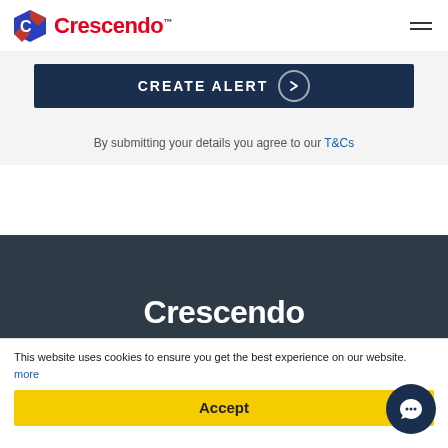[Figure (logo): Crescendo logo with hexagon icon and red text]
[Figure (infographic): CREATE ALERT button, dark navy background with circle arrow icon]
By submitting your details you agree to our T&Cs
Crescendo
[Figure (infographic): Social media icons: LinkedIn, Twitter, Instagram, Facebook, YouTube — white circles on dark background]
This website uses cookies to ensure you get the best experience on our website. more
Accept